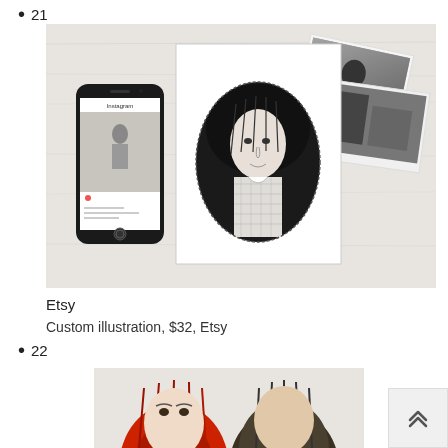21
[Figure (photo): Flat-lay photo showing a smartphone with Instagram open, a hand-drawn custom illustration portrait on white paper, and several black-and-white photographs arranged on a white surface.]
Etsy
Custom illustration, $32, Etsy
22
[Figure (photo): Partial photo showing two cartoon or sculpted figurine heads — one with bright red hair and one with dark hair — on a white/light background.]